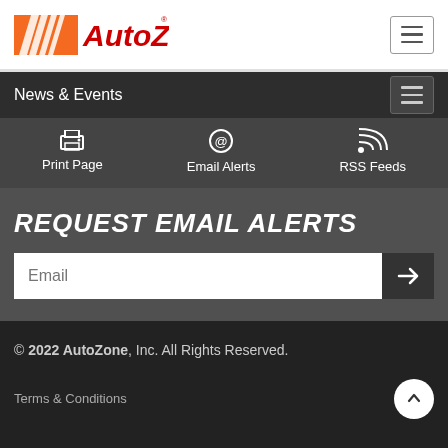AutoZone
News & Events
Print Page
Email Alerts
RSS Feeds
REQUEST EMAIL ALERTS
Email
© 2022 AutoZone, Inc. All Rights Reserved.
Terms & Conditions